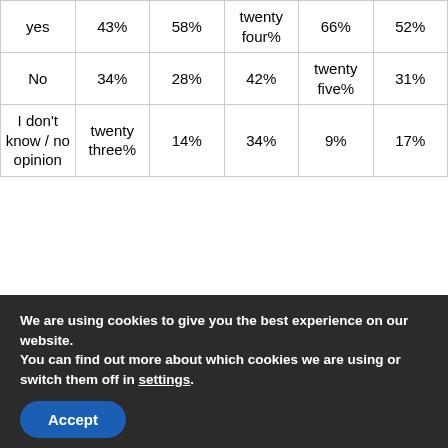| yes | 43% | 58% | twenty four% | 66% | 52% |
| No | 34% | 28% | 42% | twenty five% | 31% |
| I don't know / no opinion | twenty three% | 14% | 34% | 9% | 17% |
We are using cookies to give you the best experience on our website.
You can find out more about which cookies we are using or switch them off in settings.